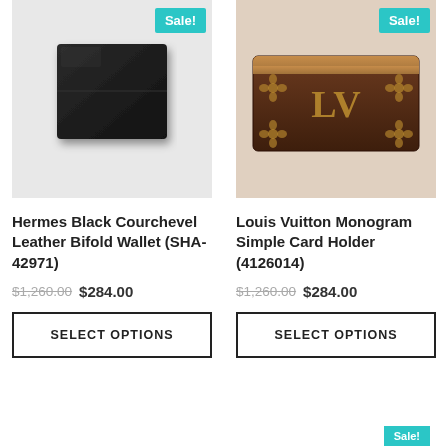[Figure (photo): Hermes black courchevel leather bifold wallet product photo with Sale badge]
[Figure (photo): Louis Vuitton monogram simple card holder product photo with Sale badge]
Hermes Black Courchevel Leather Bifold Wallet (SHA-42971)
Louis Vuitton Monogram Simple Card Holder (4126014)
$1,260.00 $284.00
$1,260.00 $284.00
SELECT OPTIONS
SELECT OPTIONS